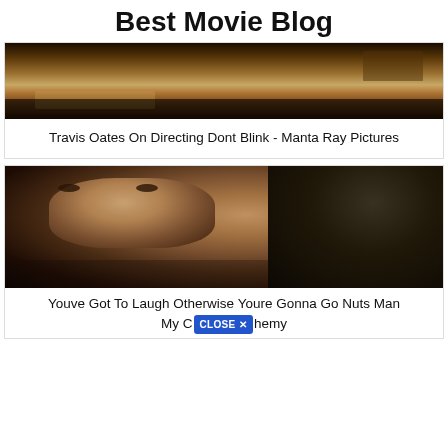Best Movie Blog
[Figure (photo): Dark movie still from Dont Blink film showing a dimly lit scene with warm tones]
Travis Oates On Directing Dont Blink - Manta Ray Pictures
[Figure (photo): Movie still showing a close-up of a blonde male actor looking to the side in a dark scene]
Youve Got To Laugh Otherwise Youre Gonna Go Nuts Man My C[CLOSE X]hemy